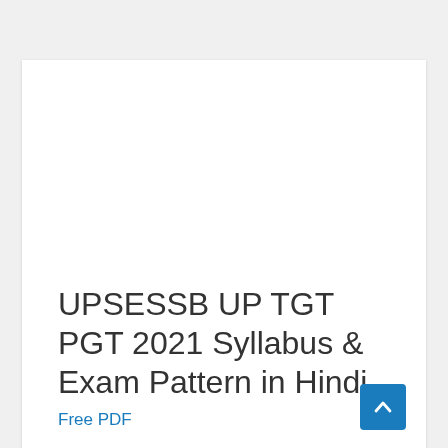UPSESSB UP TGT PGT 2021 Syllabus & Exam Pattern in Hindi
Free PDF